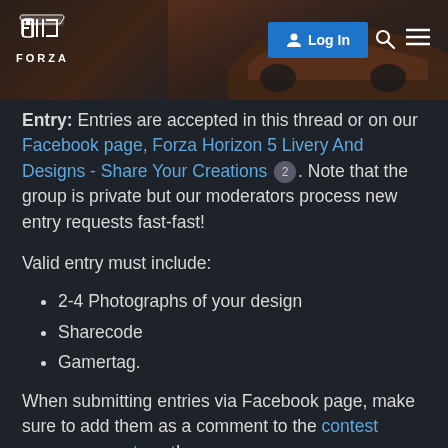[Figure (screenshot): Forza website header with dark background showing a car silhouette, Forza logo on the left, Log In button in blue, search icon and hamburger menu on the right.]
Entry: Entries are accepted in this thread or on our Facebook page, Forza Horizon 5 Livery And Designs - Share Your Creations 2 . Note that the group is private but our moderators process new entry requests fast-fast!
Valid entry must include:
2-4 Photographs of your design
Sharecode
Gamertag.
When submitting entries via Facebook page, make sure to add them as a comment to the contest announcement post!
Official in-game FH5 prizes to be won!
1st Place Winner: